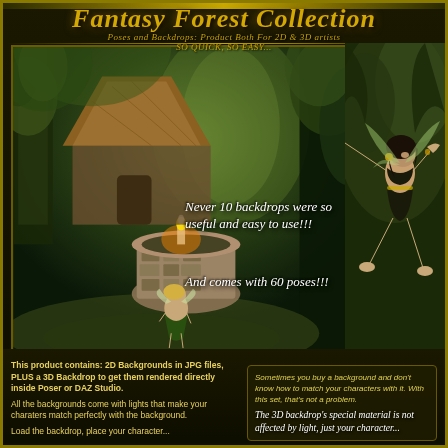Fantasy Forest Collection
Poses and Backdrops: Product Both For 2D & 3D artists SO QUICK, SO EASY...
[Figure (illustration): Fantasy forest illustration showing a fairy character seated on a stone well near a thatched hut in a glowing forest setting, with another flying fairy figure on the right side against a dark forest backdrop]
Never 10 backdrops were so useful and easy to use!!!
And comes with 60 poses!!!
This product contains: 2D Backgrounds in JPG files, PLUS a 3D Backdrop to get them rendered directly inside Poser or DAZ Studio.

All the backgrounds come with lights that make your charaters match perfectly with the background.

Load the backdrop, place your character...
Sometimes you buy a background and don't know how to match your characters with it. With this set, that's not a problem.

The 3D backdrop's special material is not affected by light, just your character...